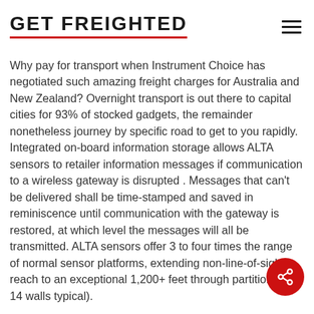GET FREIGHTED
Why pay for transport when Instrument Choice has negotiated such amazing freight charges for Australia and New Zealand? Overnight transport is out there to capital cities for 93% of stocked gadgets, the remainder nonetheless journey by specific road to get to you rapidly. Integrated on-board information storage allows ALTA sensors to retailer information messages if communication to a wireless gateway is disrupted . Messages that can't be delivered shall be time-stamped and saved in reminiscence until communication with the gateway is restored, at which level the messages will all be transmitted. ALTA sensors offer 3 to four times the range of normal sensor platforms, extending non-line-of-sight reach to an exceptional 1,200+ feet through partitions (12-14 walls typical).